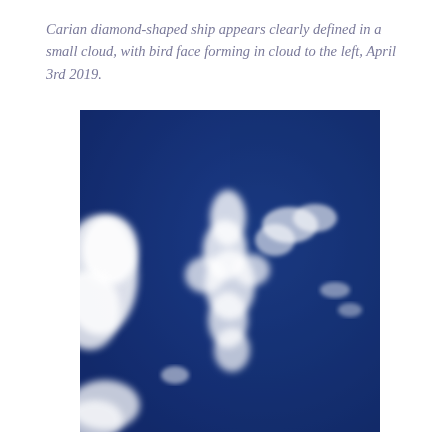Carian diamond-shaped ship appears clearly defined in a small cloud, with bird face forming in cloud to the left, April 3rd 2019.
[Figure (photo): Photograph of a deep blue sky with small wispy white clouds. The central cloud formation is described as a Carian diamond-shaped ship, with a bird face forming in a cloud to the left side of the image.]